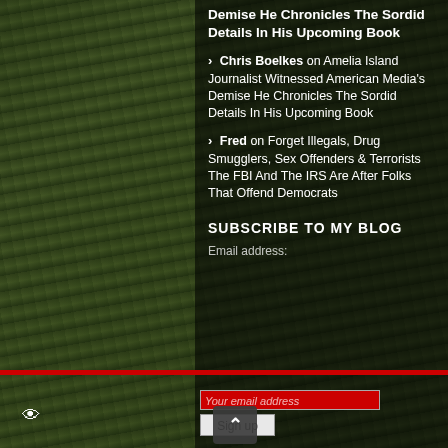Demise He Chronicles The Sordid Details In His Upcoming Book
Chris Boelkes on Amelia Island Journalist Witnessed American Media's Demise He Chronicles The Sordid Details In His Upcoming Book
Fred on Forget Illegals, Drug Smugglers, Sex Offenders & Terrorists The FBI And The IRS Are After Folks That Offend Democrats
SUBSCRIBE TO MY BLOG
Email address:
Your email address
Sign up